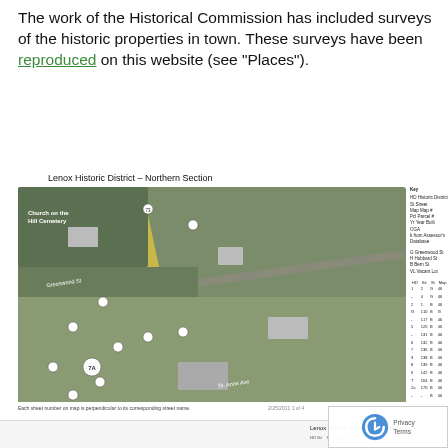The work of the Historical Commission has included surveys of the historic properties in town.  These surveys have been reproduced on this website (see "Places").
[Figure (map): Aerial map of Lenox Historic District – Northern Section showing streets including Greenwood St, Church on the Hill Cemetery, St. Anne Ave, and numbered survey points. Includes a key legend and a data table listing historic district properties with columns for HD, Str, Map, Pcl, Yr. Bottom note reads: Each sheet number on map is perpendicular to its corresponding street name.]
[Figure (map): Partial view of Lenox Historic District – Central Section map at bottom of page, partially cut off.]